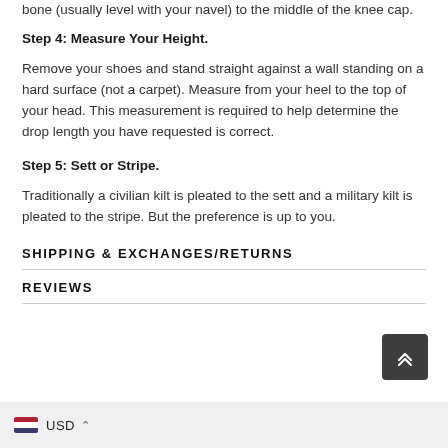bone (usually level with your navel) to the middle of the knee cap.
Step 4: Measure Your Height.
Remove your shoes and stand straight against a wall standing on a hard surface (not a carpet). Measure from your heel to the top of your head. This measurement is required to help determine the drop length you have requested is correct.
Step 5: Sett or Stripe.
Traditionally a civilian kilt is pleated to the sett and a military kilt is pleated to the stripe. But the preference is up to you.
SHIPPING & EXCHANGES/RETURNS
REVIEWS
[Figure (other): Back to top button (dark grey rounded square with double chevron up arrow)]
[Figure (other): Currency selector bar at bottom showing US flag icon, USD label, and upward chevron]